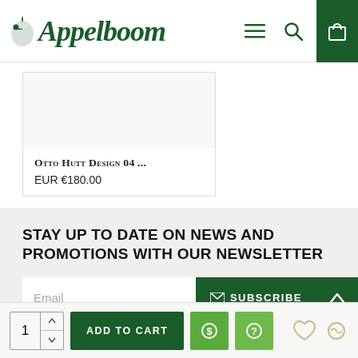Appelboom
Otto Hutt Design 04 ...
EUR €180.00
Stay up to date on news and promotions with our newsletter
Email
SUBSCRIBE
ADD TO CART